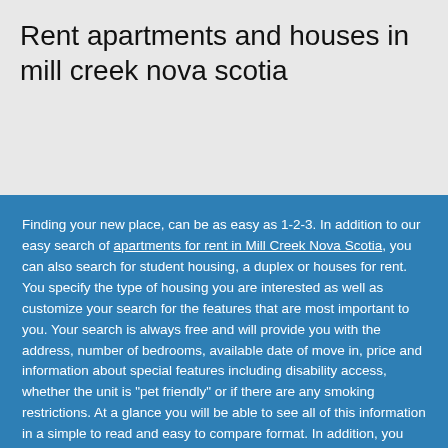Rent apartments and houses in mill creek nova scotia
Finding your new place, can be as easy as 1-2-3. In addition to our easy search of apartments for rent in Mill Creek Nova Scotia, you can also search for student housing, a duplex or houses for rent. You specify the type of housing you are interested as well as customize your search for the features that are most important to you. Your search is always free and will provide you with the address, number of bedrooms, available date of move in, price and information about special features including disability access, whether the unit is "pet friendly" or if there are any smoking restrictions. At a glance you will be able to see all of this information in a simple to read and easy to compare format. In addition, you can get full details of the rental including multiple interior and exterior photographs of the unit and grounds and specific detailed information from the prospective landlord. You will also be provided instant access to communicate with the landlord through toll free numbers or email addresses.